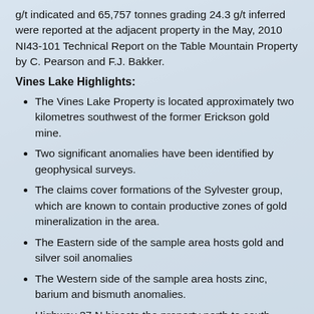g/t indicated and 65,757 tonnes grading 24.3 g/t inferred were reported at the adjacent property in the May, 2010 NI43-101 Technical Report on the Table Mountain Property by C. Pearson and F.J. Bakker.
Vines Lake Highlights:
The Vines Lake Property is located approximately two kilometres southwest of the former Erickson gold mine.
Two significant anomalies have been identified by geophysical surveys.
The claims cover formations of the Sylvester group, which are known to contain productive zones of gold mineralization in the area.
The Eastern side of the sample area hosts gold and silver soil anomalies
The Western side of the sample area hosts zinc, barium and bismuth anomalies.
Highway 37 N bisects the property north to south